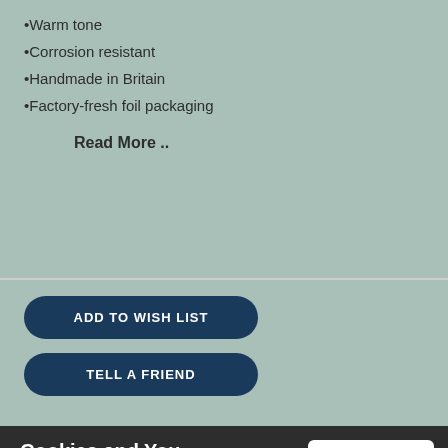•Warm tone
•Corrosion resistant
•Handmade in Britain
•Factory-fresh foil packaging
Read More ..
ADD TO WISH LIST
TELL A FRIEND
Cookies and You
Click & Collect Available
We use cookies on this website. You are free to manage these via your browser settings at any time. For more about how we use cookies, please see our Cookie Policy.
Set Up Before Despatch. Read more ..
GOT IT!